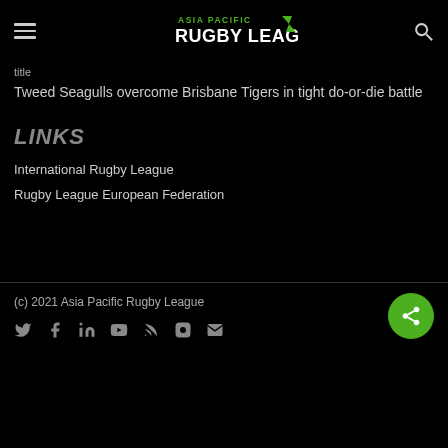Asia Pacific Rugby League
title
Tweed Seagulls overcome Brisbane Tigers in tight do-or-die battle
LINKS
International Rugby League
Rugby League European Federation
(c) 2021 Asia Pacific Rugby League